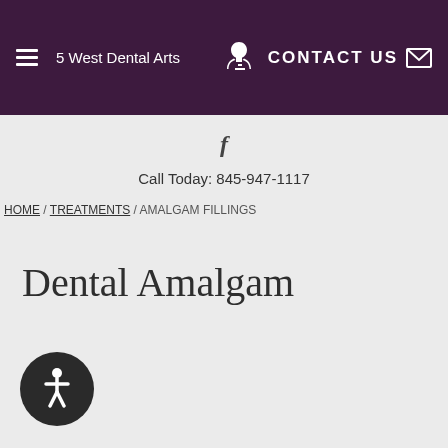5 West Dental Arts — CONTACT US
f
Call Today: 845-947-1117
HOME / TREATMENTS / AMALGAM FILLINGS
Dental Amalgam
[Figure (illustration): Accessibility wheelchair icon button, dark circular button at bottom left]